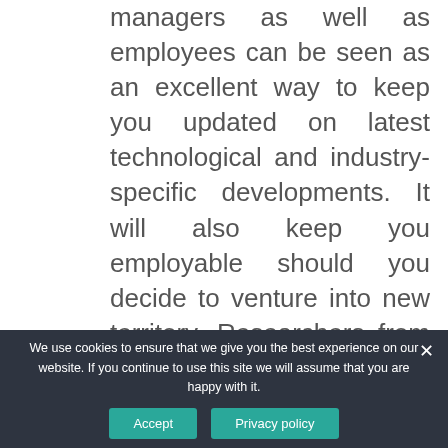managers as well as employees can be seen as an excellent way to keep you updated on latest technological and industry-specific developments. It will also keep you employable should you decide to venture into new territory. Researchers from Georgetown University state that in current times, around 30% of all job vacancies require a bachelor's degree. Those who already have a degree, meanwhile, can specialize their
We use cookies to ensure that we give you the best experience on our website. If you continue to use this site we will assume that you are happy with it.